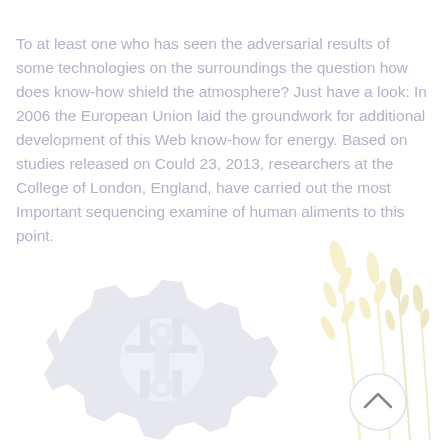To at least one who has seen the adversarial results of some technologies on the surroundings the question how does know-how shield the atmosphere? Just have a look: In 2006 the European Union laid the groundwork for additional development of this Web know-how for energy. Based on studies released on Could 23, 2013, researchers at the College of London, England, have carried out the most Important sequencing examine of human aliments to this point.
[Figure (illustration): Faded light blue/lavender illustration of a large gear/cog mechanism with mechanical components, overlaid with faint golden/yellow wheat or plant stalks on the right side. A small circular button/icon with an upward chevron arrow appears in the lower right area. The overall image is very light and watermark-like in appearance.]